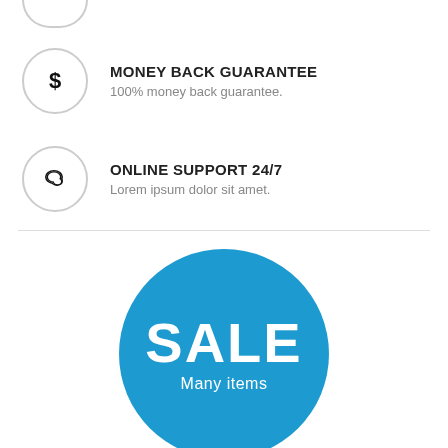MONEY BACK GUARANTEE — 100% money back guarantee.
ONLINE SUPPORT 24/7 — Lorem ipsum dolor sit amet.
[Figure (infographic): Large blue circle badge with white text reading SALE and subtitle Many items, followed by large blue 40% text below, with a grey scroll-to-top button in bottom right corner.]